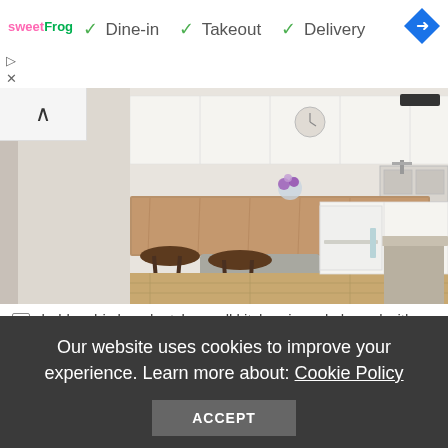✓ Dine-in  ✓ Takeout  ✓ Delivery
[Figure (logo): sweetFrog logo in pink and green text]
[Figure (other): Blue diamond direction/navigation icon with white arrow]
▷
✕
[Figure (photo): Shabby chic beach style small kitchen in an L-shaped layout with a wood top island, white cabinets, bar stools, and hardwood floors]
shabby chic beach style small kitchen in an l-shaped with a wood top island, image © big chill
Our website uses cookies to improve your experience. Learn more about: Cookie Policy
ACCEPT